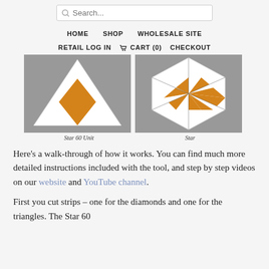Search... | HOME | SHOP | WHOLESALE SITE | RETAIL LOG IN | CART (0) | CHECKOUT
[Figure (photo): Two quilt block photos side by side: left shows a white and orange/yellow triangular 'Star 60 Unit' quilt block on grey background; right shows a white and orange/yellow hexagonal 'Star' quilt block on grey background.]
Star 60 Unit
Star
Here's a walk-through of how it works. You can find much more detailed instructions included with the tool, and step by step videos on our website and YouTube channel.
First you cut strips – one for the diamonds and one for the triangles. The Star 60